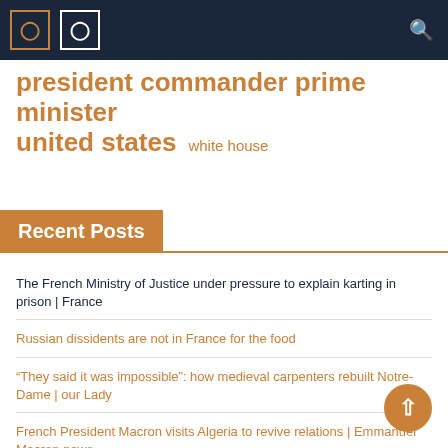Navigation bar with menu icons and search
president commander prime minister united states white house
Recent Posts
The French Ministry of Justice under pressure to explain karting in prison | France
Russian dissidents are not in France for the food
“They said it was impossible”: how medieval carpenters rebuilt Notre-Dame | our Lady
French President Macron visits Algeria to revive relations | Emmanuel Macron news
France crushes Germany’s greatest hope